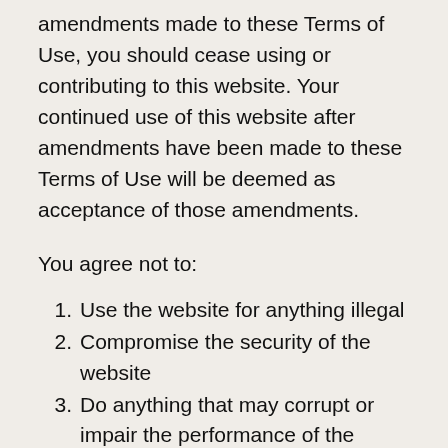amendments made to these Terms of Use, you should cease using or contributing to this website. Your continued use of this website after amendments have been made to these Terms of Use will be deemed as acceptance of those amendments.
You agree not to:
Use the website for anything illegal
Compromise the security of the website
Do anything that may corrupt or impair the performance of the website
Attempt to access any secure area of the website